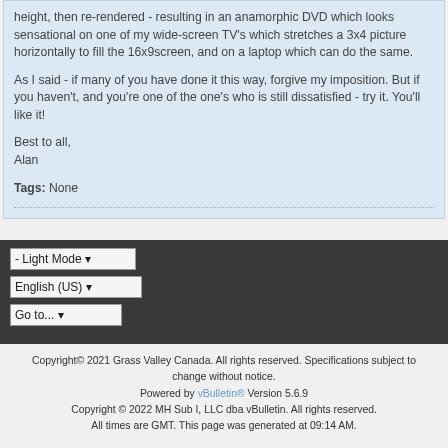height, then re-rendered - resulting in an anamorphic DVD which looks sensational on one of my wide-screen TV's which stretches a 3x4 picture horizontally to fill the 16x9screen, and on a laptop which can do the same.

As I said - if many of you have done it this way, forgive my imposition. But if you haven't, and you're one of the one's who is still dissatisfied - try it. You'll like it!

Best to all,
Alan
Tags: None
- Light Mode
English (US)
Go to...
Copyright© 2021 Grass Valley Canada. All rights reserved. Specifications subject to change without notice.
Powered by vBulletin® Version 5.6.9
Copyright © 2022 MH Sub I, LLC dba vBulletin. All rights reserved.
All times are GMT. This page was generated at 09:14 AM.